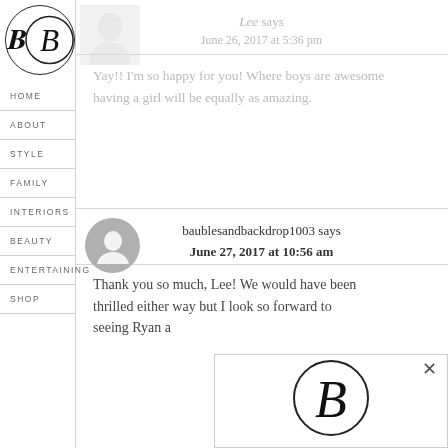Navigation: HOME, ABOUT, STYLE, FAMILY, INTERIORS, BEAUTY, ENTERTAINING, SHOP
Lee says
June 26, 2017 at 5:36 pm
Yay!! I'm so happy for you! Where boys are awesome having a girl will be equally as amazing.
baublesandbackdrop1003 says
June 27, 2017 at 10:56 am
Thank you so much, Lee! We would have been thrilled either way but I look so forward to seeing Ryan a...
[Figure (logo): Stylized B logo in a circle, popup overlay with close button]